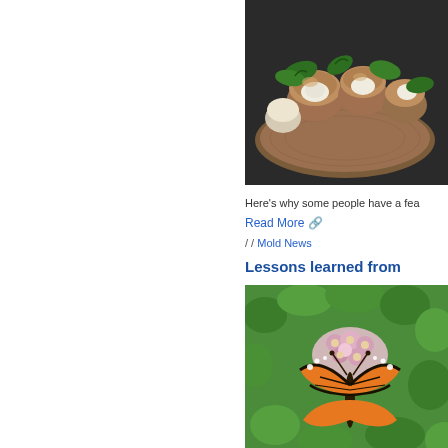[Figure (photo): Photo of mushrooms with cream filling and parsley garnish on a wooden board against a dark background]
Here's why some people have a fea
Read More ↗
/ / Mold News
Lessons learned from
[Figure (photo): Photo of a monarch butterfly on pink milkweed flowers with green foliage background]